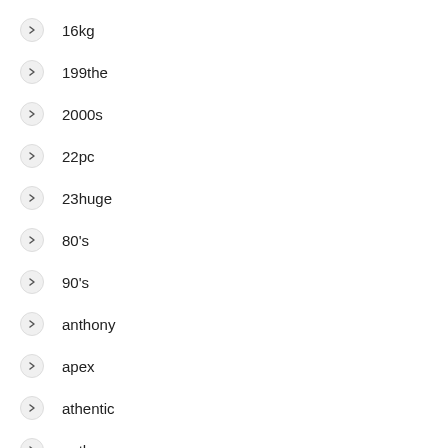16kg
199the
2000s
22pc
23huge
80's
90's
anthony
apex
athentic
auth